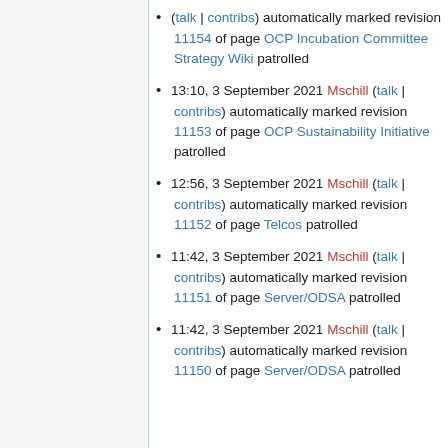(talk | contribs) automatically marked revision 11154 of page OCP Incubation Committee Strategy Wiki patrolled
13:10, 3 September 2021 Mschill (talk | contribs) automatically marked revision 11153 of page OCP Sustainability Initiative patrolled
12:56, 3 September 2021 Mschill (talk | contribs) automatically marked revision 11152 of page Telcos patrolled
11:42, 3 September 2021 Mschill (talk | contribs) automatically marked revision 11151 of page Server/ODSA patrolled
11:42, 3 September 2021 Mschill (talk | contribs) automatically marked revision 11150 of page Server/ODSA patrolled